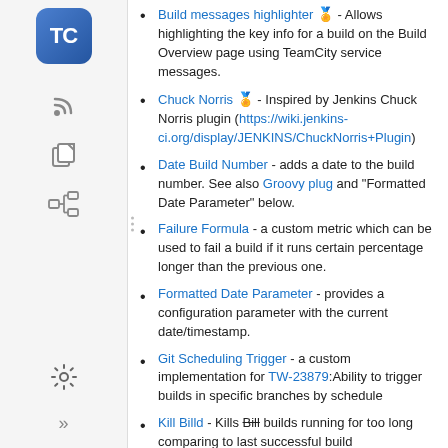Build messages highlighter 🏅 - Allows highlighting the key info for a build on the Build Overview page using TeamCity service messages.
Chuck Norris 🏅 - Inspired by Jenkins Chuck Norris plugin (https://wiki.jenkins-ci.org/display/JENKINS/ChuckNorris+Plugin)
Date Build Number - adds a date to the build number. See also Groovy plug and "Formatted Date Parameter" below.
Failure Formula - a custom metric which can be used to fail a build if it runs certain percentage longer than the previous one.
Formatted Date Parameter - provides a configuration parameter with the current date/timestamp.
Git Scheduling Trigger - a custom implementation for TW-23879:Ability to trigger builds in specific branches by schedule
Kill Billd - Kills Bill builds running for too long comparing to last successful build
NetPublisher - publishing build artifacts to a network share (server-side)
RunAs JB - Adds the ability to run builds in